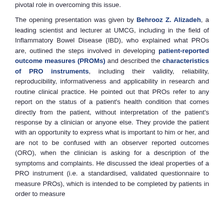pivotal role in overcoming this issue.
The opening presentation was given by Behrooz Z. Alizadeh, a leading scientist and lecturer at UMCG, including in the field of Inflammatory Bowel Disease (IBD), who explained what PROs are, outlined the steps involved in developing patient-reported outcome measures (PROMs) and described the characteristics of PRO instruments, including their validity, reliability, reproducibility, informativeness and applicability in research and routine clinical practice. He pointed out that PROs refer to any report on the status of a patient's health condition that comes directly from the patient, without interpretation of the patient's response by a clinician or anyone else. They provide the patient with an opportunity to express what is important to him or her, and are not to be confused with an observer reported outcomes (ORO), when the clinician is asking for a description of the symptoms and complaints. He discussed the ideal properties of a PRO instrument (i.e. a standardised, validated questionnaire to measure PROs), which is intended to be completed by patients in order to measure